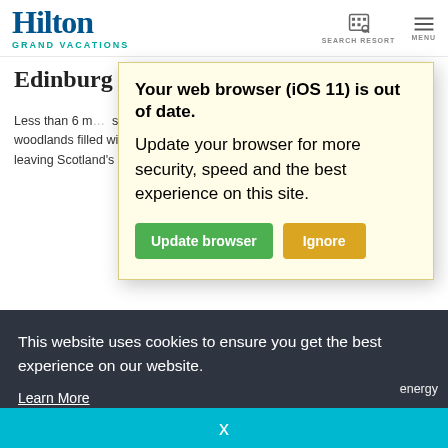[Figure (screenshot): Hilton Grand Vacations website header with logo, Search Resort icon, and Menu icon]
Edinburg
Less than 6 m... sculpture gard... handed a map... nearly 100 acres of woodlands filled with art, sculptures and innovative landscapes before leaving Scotland's greens and your vacation behind.
[Figure (screenshot): Browser warning modal overlay with yellow background saying 'Your web browser (iOS 11) is out of date. Update your browser for more security, speed and the best experience on this site.' with green 'Update browser' button and orange 'Ignore' button]
This website uses cookies to ensure you get the best experience on our website.
Learn More
energy
x
Francisco International. Coyote Point provides activities like boating,